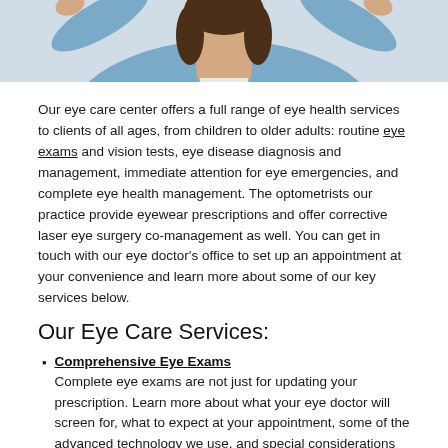[Figure (photo): Partial photo of a young woman with brown hair wearing a denim jacket and white shirt, arms raised, cropped at shoulders/head level]
Our eye care center offers a full range of eye health services to clients of all ages, from children to older adults: routine eye exams and vision tests, eye disease diagnosis and management, immediate attention for eye emergencies, and complete eye health management. The optometrists our practice provide eyewear prescriptions and offer corrective laser eye surgery co-management as well. You can get in touch with our eye doctor's office to set up an appointment at your convenience and learn more about some of our key services below.
Our Eye Care Services:
Comprehensive Eye Exams — Complete eye exams are not just for updating your prescription. Learn more about what your eye doctor will screen for, what to expect at your appointment, some of the advanced technology we use, and special considerations for